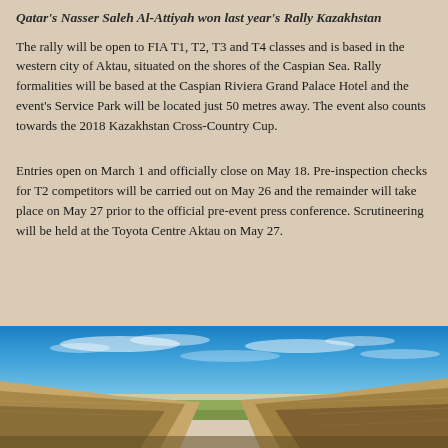Qatar's Nasser Saleh Al-Attiyah won last year's Rally Kazakhstan
The rally will be open to FIA T1, T2, T3 and T4 classes and is based in the western city of Aktau, situated on the shores of the Caspian Sea. Rally formalities will be based at the Caspian Riviera Grand Palace Hotel and the event's Service Park will be located just 50 metres away. The event also counts towards the 2018 Kazakhstan Cross-Country Cup.
Entries open on March 1 and officially close on May 18. Pre-inspection checks for T2 competitors will be carried out on May 26 and the remainder will take place on May 27 prior to the official pre-event press conference. Scrutineering will be held at the Toyota Centre Aktau on May 27.
[Figure (photo): Wide panoramic landscape photo showing rocky canyon terrain with green valley floor under a vivid blue sky with wispy white clouds, likely Kazakhstan steppe/canyon scenery]